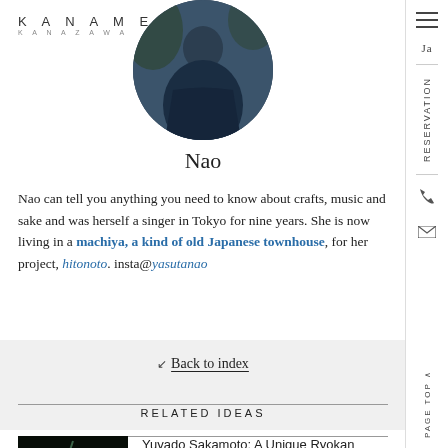KANAME KANAZAWA JAPAN
[Figure (photo): Circular profile photo of Nao, a person in a dark blue garment, outdoors with greenery in background]
Nao
Nao can tell you anything you need to know about crafts, music and sake and was herself a singer in Tokyo for nine years. She is now living in a machiya, a kind of old Japanese townhouse, for her project, hitonoto. insta@yasutanao
Back to index
RELATED IDEAS
Yuyado Sakamoto: A Unique Ryokan Experience …
Day Trips from
[Figure (photo): Dark photo of a green ceramic bowl with liquid being poured into it]